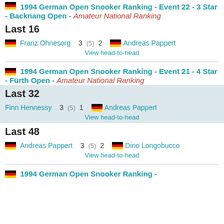1994 German Open Snooker Ranking - Event 22 - 3 Star - Backnang Open - Amateur National Ranking
Last 16
Franz Ohnesorg 3 (5) 2 Andreas Pappert
View head-to-head
1994 German Open Snooker Ranking - Event 21 - 4 Star - Fürth Open - Amateur National Ranking
Last 32
Finn Hennessy 3 (5) 1 Andreas Pappert
View head-to-head
Last 48
Andreas Pappert 3 (5) 2 Dino Longobucco
View head-to-head
1994 German Open Snooker Ranking -